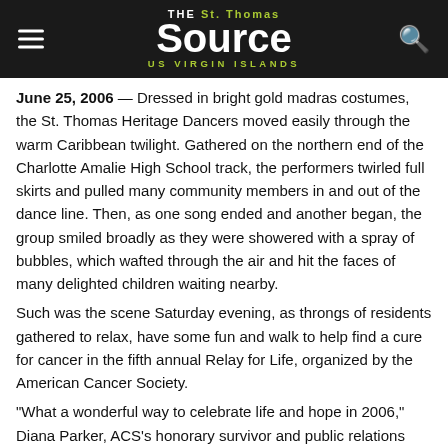The St. Thomas Source - US Virgin Islands
June 25, 2006 — Dressed in bright gold madras costumes, the St. Thomas Heritage Dancers moved easily through the warm Caribbean twilight. Gathered on the northern end of the Charlotte Amalie High School track, the performers twirled full skirts and pulled many community members in and out of the dance line. Then, as one song ended and another began, the group smiled broadly as they were showered with a spray of bubbles, which wafted through the air and hit the faces of many delighted children waiting nearby.
Such was the scene Saturday evening, as throngs of residents gathered to relax, have some fun and walk to help find a cure for cancer in the fifth annual Relay for Life, organized by the American Cancer Society.
"What a wonderful way to celebrate life and hope in 2006," Diana Parker, ACS's honorary survivor and public relations spokesperson, said after the dancers took their seats. "And